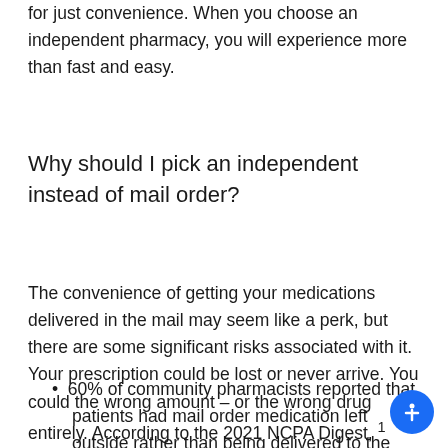for just convenience. When you choose an independent pharmacy, you will experience more than fast and easy.
Why should I pick an independent instead of mail order?
The convenience of getting your medications delivered in the mail may seem like a perk, but there are some significant risks associated with it. Your prescription could be lost or never arrive. You could the wrong amount – or the wrong drug entirely. According to the 2021 NCPA Digest, ¹
60% of community pharmacists reported that patients had mail order medication left outside rather than being delivered to the patient.